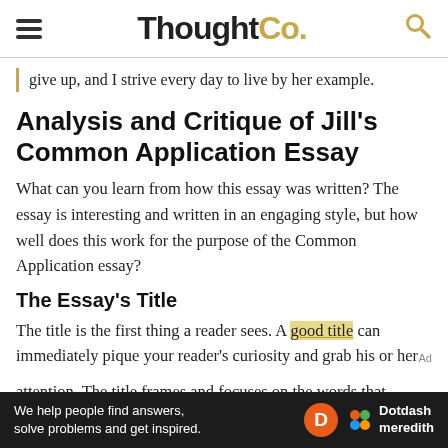ThoughtCo.
give up, and I strive every day to live by her example.
Analysis and Critique of Jill's Common Application Essay
What can you learn from how this essay was written? The essay is interesting and written in an engaging style, but how well does this work for the purpose of the Common Application essay?
The Essay's Title
The title is the first thing a reader sees. A good title can immediately pique your reader's curiosity and grab his or her attention. The title frames and focuses on the words that
[Figure (other): Dotdash Meredith advertisement banner at bottom of page]